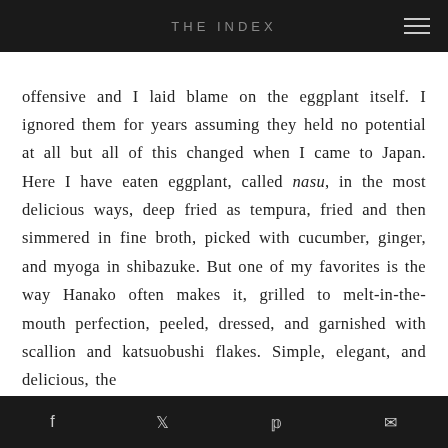THE INDEX
offensive and I laid blame on the eggplant itself. I ignored them for years assuming they held no potential at all but all of this changed when I came to Japan. Here I have eaten eggplant, called nasu, in the most delicious ways, deep fried as tempura, fried and then simmered in fine broth, picked with cucumber, ginger, and myoga in shibazuke. But one of my favorites is the way Hanako often makes it, grilled to melt-in-the-mouth perfection, peeled, dressed, and garnished with scallion and katsuobushi flakes. Simple, elegant, and delicious, the
f  t  p  ✉